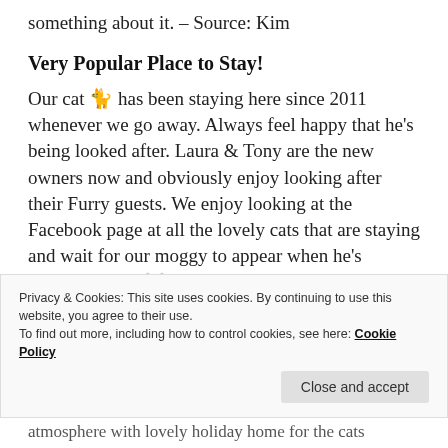something about it. – Source: Kim
Very Popular Place to Stay!
Our cat 🐈 has been staying here since 2011 whenever we go away. Always feel happy that he's being looked after. Laura & Tony are the new owners now and obviously enjoy looking after their Furry guests. We enjoy looking at the Facebook page at all the lovely cats that are staying and wait for our moggy to appear when he's boarding there 😸 Book early if you can, it's a very popular place to stay !
– Source: Maureen
Privacy & Cookies: This site uses cookies. By continuing to use this website, you agree to their use.
To find out more, including how to control cookies, see here: Cookie Policy
Close and accept
atmosphere with lovely holiday home for the cats